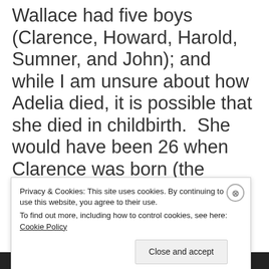Wallace had five boys (Clarence, Howard, Harold, Sumner, and John); and while I am unsure about how Adelia died, it is possible that she died in childbirth.  She would have been 26 when Clarence was born (the second oldest son) and 37 when John was born.  The
Privacy & Cookies: This site uses cookies. By continuing to use this website, you agree to their use.
To find out more, including how to control cookies, see here: Cookie Policy
Close and accept